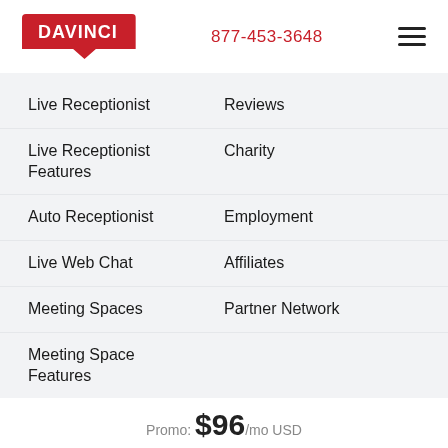DAVINCI  877-453-3648
Live Receptionist    Reviews
Live Receptionist Features    Charity
Auto Receptionist    Employment
Live Web Chat    Affiliates
Meeting Spaces    Partner Network
Meeting Space Features
Promo: $96/mo USD
$199 One-time Setup Fee
1-877-453-3648
Select this Location